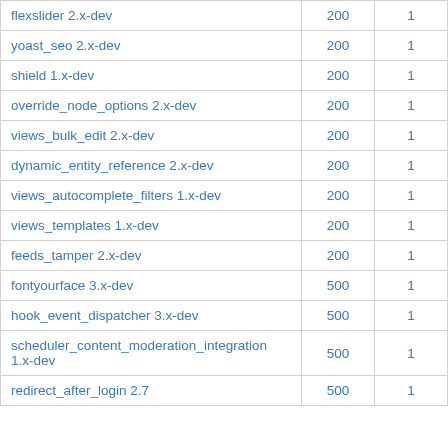| flexslider 2.x-dev | 200 | 1 |
| yoast_seo 2.x-dev | 200 | 1 |
| shield 1.x-dev | 200 | 1 |
| override_node_options 2.x-dev | 200 | 1 |
| views_bulk_edit 2.x-dev | 200 | 1 |
| dynamic_entity_reference 2.x-dev | 200 | 1 |
| views_autocomplete_filters 1.x-dev | 200 | 1 |
| views_templates 1.x-dev | 200 | 1 |
| feeds_tamper 2.x-dev | 200 | 1 |
| fontyourface 3.x-dev | 500 | 1 |
| hook_event_dispatcher 3.x-dev | 500 | 1 |
| scheduler_content_moderation_integration 1.x-dev | 500 | 1 |
| redirect_after_login 2.7 | 500 | 1 |